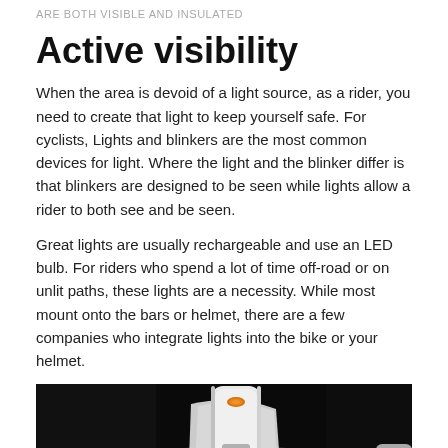ARE BOTH VISIBLE AND INSULATED
Active visibility
When the area is devoid of a light source, as a rider, you need to create that light to keep yourself safe. For cyclists, Lights and blinkers are the most common devices for light. Where the light and the blinker differ is that blinkers are designed to be seen while lights allow a rider to both see and be seen.
Great lights are usually rechargeable and use an LED bulb. For riders who spend a lot of time off-road or on unlit paths, these lights are a necessity. While most mount onto the bars or helmet, there are a few companies who integrate lights into the bike or your helmet.
[Figure (photo): Close-up photo of a bicycle helmet with a white integrated light strip on top, set against a dark background. The helmet has a dark textured shell with ventilation holes.]